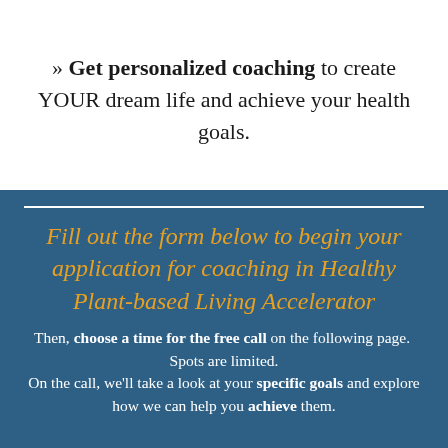» Get personalized coaching to create YOUR dream life and achieve your health goals.
Fill out the form below to begin your application for coaching in Healthy Plant-based Living Accelerator
Then, choose a time for the free call on the following page. Spots are limited. On the call, we'll take a look at your specific goals and explore how we can help you achieve them.